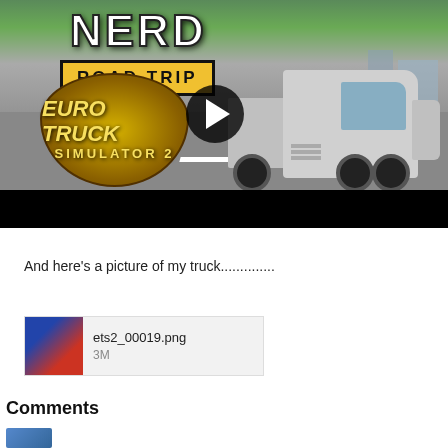[Figure (screenshot): Video thumbnail showing Euro Truck Simulator 2 Nerd Road Trip with a large white semi truck on a road, play button overlay, and black bar at bottom]
And here's a picture of my truck.............
[Figure (other): Attachment thumbnail for ets2_00019.png, showing a small preview image with filename and file size 3M]
Comments